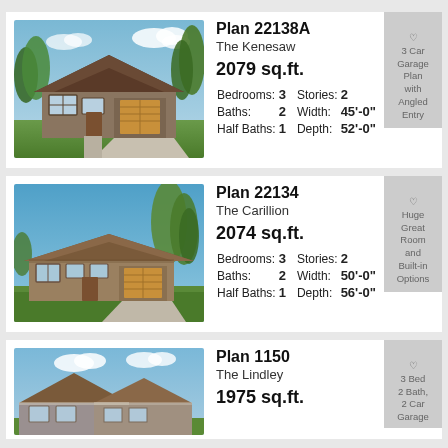[Figure (photo): House exterior photo for Plan 22138A The Kenesaw - craftsman style home with trees]
Plan 22138A
The Kenesaw
2079 sq.ft.
Bedrooms: 3  Stories: 2
Baths: 2  Width: 45'-0"
Half Baths: 1  Depth: 52'-0"
3 Car Garage Plan with Angled Entry
[Figure (photo): House exterior photo for Plan 22134 The Carillion - craftsman ranch style home]
Plan 22134
The Carillion
2074 sq.ft.
Bedrooms: 3  Stories: 2
Baths: 2  Width: 50'-0"
Half Baths: 1  Depth: 56'-0"
Huge Great Room and Built-in Options
[Figure (photo): House exterior photo for Plan 1150 The Lindley - ranch style home]
Plan 1150
The Lindley
1975 sq.ft.
3 Bed, 2 Bath, 2 Car Garage